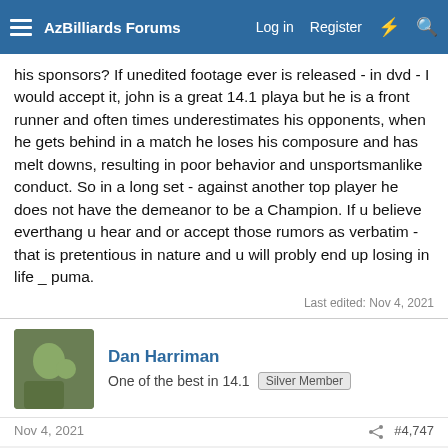AzBilliards Forums  Log in  Register
his sponsors? If unedited footage ever is released - in dvd - I would accept it, john is a great 14.1 playa but he is a front runner and often times underestimates his opponents, when he gets behind in a match he loses his composure and has melt downs, resulting in poor behavior and unsportsmanlike conduct. So in a long set - against another top player he does not have the demeanor to be a Champion. If u believe everthang u hear and or accept those rumors as verbatim - that is pretentious in nature and u will probly end up losing in life _ puma.
Last edited: Nov 4, 2021
Dan Harriman
One of the best in 14.1  Silver Member
Nov 4, 2021  #4,747
puma122 said:
I would love to see a person get through so many racks and try to